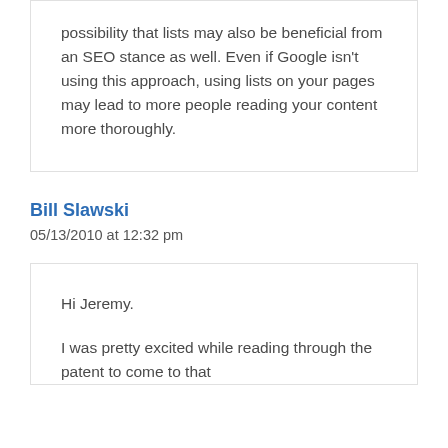possibility that lists may also be beneficial from an SEO stance as well. Even if Google isn't using this approach, using lists on your pages may lead to more people reading your content more thoroughly.
Bill Slawski
05/13/2010 at 12:32 pm
Hi Jeremy.
I was pretty excited while reading through the patent to come to that